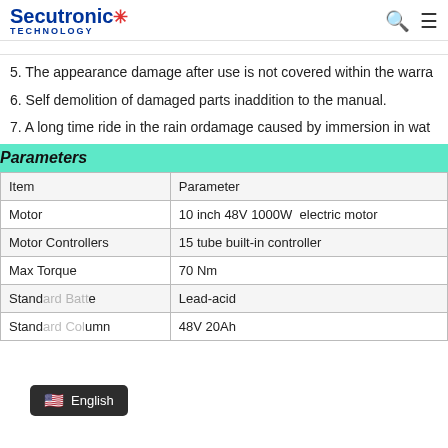Secutronic TECHNOLOGY
5. The appearance damage after use is not covered within the warra…
6. Self demolition of damaged parts inaddition to the manual.
7. A long time ride in the rain ordamage caused by immersion in wat…
Parameters
| Item | Parameter |
| --- | --- |
| Motor | 10 inch 48V 1000W  electric motor |
| Motor Controllers | 15 tube built-in controller |
| Max Torque | 70 Nm |
| Stand…e | Lead-acid |
| Stand…umn | 48V 20Ah |